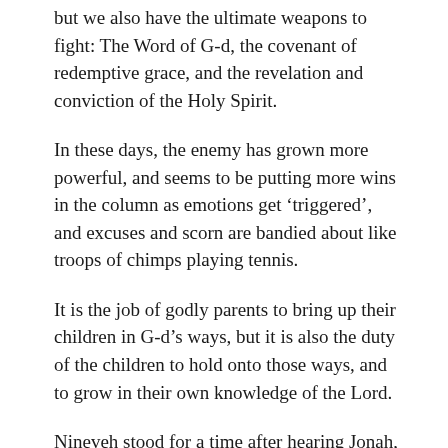but we also have the ultimate weapons to fight: The Word of G-d, the covenant of redemptive grace, and the revelation and conviction of the Holy Spirit.
In these days, the enemy has grown more powerful, and seems to be putting more wins in the column as emotions get 'triggered', and excuses and scorn are bandied about like troops of chimps playing tennis.
It is the job of godly parents to bring up their children in G-d's ways, but it is also the duty of the children to hold onto those ways, and to grow in their own knowledge of the Lord.
Nineveh stood for a time after hearing Jonah, but fell again because the future generations could not stand.